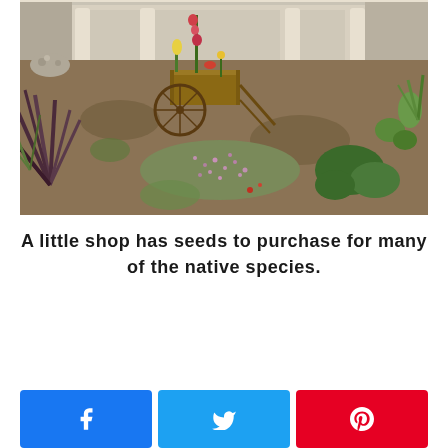[Figure (photo): Garden scene with a rustic wooden wheelbarrow planter filled with flowers including a tall gladiolus, surrounded by native plants including spiky yucca/cordyline plants with purple-red leaves, small pink flowers, and large-leaved plants on sandy/mulch ground. Stone/adobe building visible in background.]
A little shop has seeds to purchase for many of the native species.
[Figure (other): Social sharing buttons: Facebook (blue), Twitter (blue), Pinterest (red)]